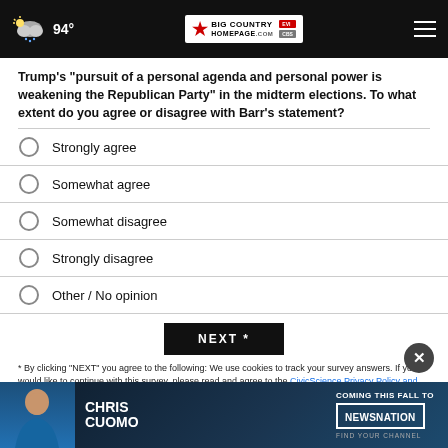94° Big Country Homepage
Trump's "pursuit of a personal agenda and personal power is weakening the Republican Party" in the midterm elections. To what extent do you agree or disagree with Barr's statement?
Strongly agree
Somewhat agree
Somewhat disagree
Strongly disagree
Other / No opinion
NEXT *
* By clicking "NEXT" you agree to the following: We use cookies to track your survey answers. If you would like to continue with this survey, please read and agree to the CivicScience Privacy Policy and Terms of
[Figure (photo): Chris Cuomo Coming This Fall To NewsNation advertisement banner]